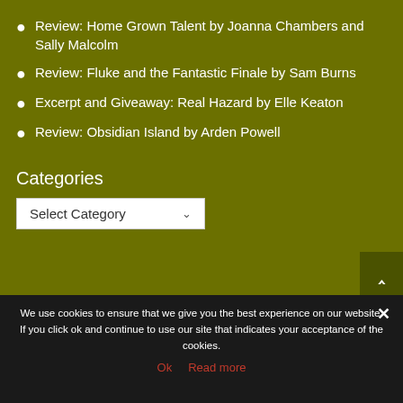Review: Home Grown Talent by Joanna Chambers and Sally Malcolm
Review: Fluke and the Fantastic Finale by Sam Burns
Excerpt and Giveaway: Real Hazard by Elle Keaton
Review: Obsidian Island by Arden Powell
Categories
[Figure (screenshot): A dropdown select box with the label 'Select Category' and a down arrow chevron]
We use cookies to ensure that we give you the best experience on our website. If you click ok and continue to use our site that indicates your acceptance of the cookies.
Ok   Read more